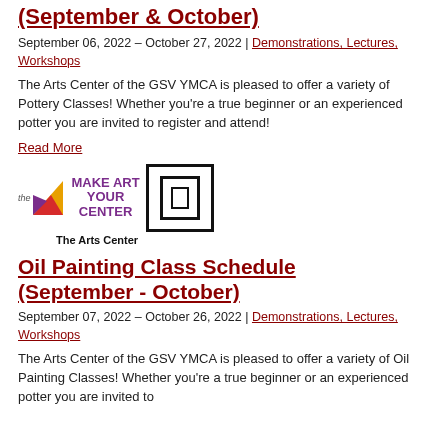(September & October)
September 06, 2022 – October 27, 2022 | Demonstrations, Lectures, Workshops
The Arts Center of the GSV YMCA is pleased to offer a variety of Pottery Classes! Whether you're a true beginner or an experienced potter you are invited to register and attend!
Read More
[Figure (logo): GSV YMCA Arts Center logo with YMCA triangle symbol, 'MAKE ART YOUR CENTER' text, and The Arts Center name with door graphic]
Oil Painting Class Schedule (September - October)
September 07, 2022 – October 26, 2022 | Demonstrations, Lectures, Workshops
The Arts Center of the GSV YMCA is pleased to offer a variety of Oil Painting Classes! Whether you're a true beginner or an experienced potter you are invited to